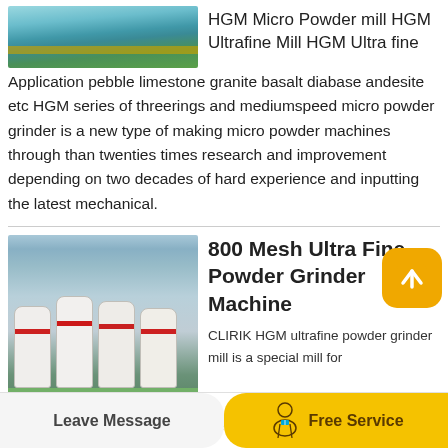[Figure (photo): Industrial facility interior, green conveyor stripe visible]
HGM Micro Powder mill HGM Ultrafine Mill HGM Ultra fine Application pebble limestone granite basalt diabase andesite etc HGM series of threerings and mediumspeed micro powder grinder is a new type of making micro powder machines through than twenties times research and improvement depending on two decades of hard experience and inputting the latest mechanical.
[Figure (photo): Row of white industrial powder grinder machines with red stripes in a factory]
800 Mesh Ultra Fine Powder Grinder Machine
CLIRIK HGM ultrafine powder grinder mill is a special mill for grinding 300-3000 mesh powder and it is also an ideal
[Figure (illustration): Yellow rounded square back-to-top button with upward chevron icon]
Leave Message    Free Service